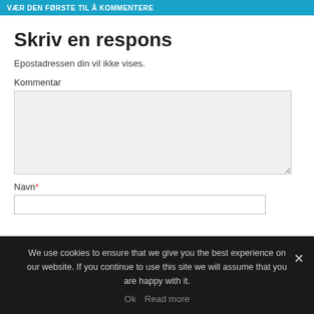VÆR DEN FØRSTE TIL Å KOMMENTERE
Skriv en respons
Epostadressen din vil ikke vises.
Kommentar
Navn*
We use cookies to ensure that we give you the best experience on our website. If you continue to use this site we will assume that you are happy with it.
Ok   Read more